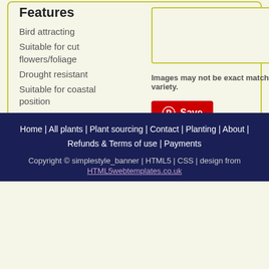Features
Bird attracting
Suitable for cut flowers/foliage
Drought resistant
Suitable for coastal position
Frost resistant
Salt Tolerant
Wind tolerant
Images may not be exact match for variety.
[Figure (other): Pinterest Save button (red button with Pinterest icon)]
Home | All plants | Plant sourcing | Contact | Planting | About | Refunds & Terms of use | Payments
Copyright © simplestyle_banner | HTML5 | CSS | design from
HTML5webtemplates.co.uk